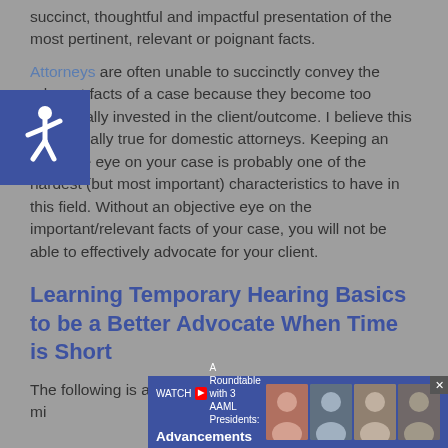succinct, thoughtful and impactful presentation of the most pertinent, relevant or poignant facts.
Attorneys are often unable to succinctly convey the relevant facts of a case because they become too emotionally invested in the client/outcome. I believe this is especially true for domestic attorneys. Keeping an objective eye on your case is probably one of the hardest (but most important) characteristics to have in this field. Without an objective eye on the important/relevant facts of your case, you will not be able to effectively advocate for your client.
Learning Temporary Hearing Basics to be a Better Advocate When Time is Short
The following is a shortlist of practice pointers to keep in mi...
[Figure (infographic): Blue square with wheelchair accessibility icon (white)]
[Figure (infographic): Banner ad: WATCH A Roundtable with 3 AAML Presidents: Advancements in Family Law, with photos of speakers and close button]